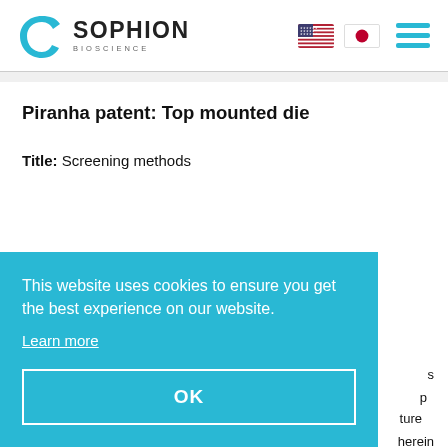[Figure (logo): Sophion Bioscience logo with teal C-shape icon and company name]
Piranha patent: Top mounted die
Title: Screening methods
This website uses cookies to ensure you get the best experience on our website. Learn more OK
...s ...p ...ture ...herein ...r structure by means of a bonding material, such as an UV-curing